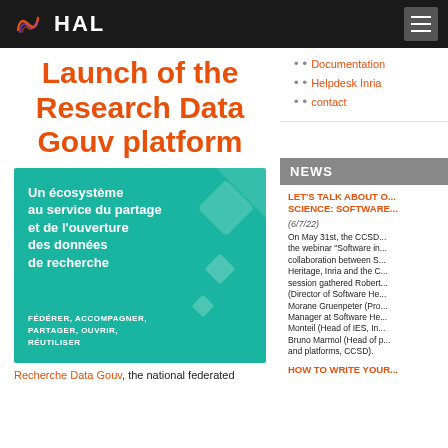HAL
Launch of the Research Data Gouv platform
[Figure (illustration): Teal/green graphic with French text: 'Un écosystème au service du partage et de l'ouverture des données de recherche' and subtitle 'FÉDÉRER, ACCOMPAGNER, PARTAGER, OUVRIR, RÉUTILISER']
Recherche Data Gouv, the national federated
Documentation
Helpdesk Inria
contact
NEWS
LET'S TALK ABOUT O... SCIENCE: SOFTWARE
(6/7/22)
On May 31st, the CCSD... the webinar "Software in... collaboration between S... Heritage, Inria and the C... session gathered Robert... (Director of Software He... Morane Gruenpeter (Pro... Manager at Software He... Monteil (Head of IES, In... Bruno Marmol (Head of p... and platforms, CCSD).
HOW TO WRITE YOUR